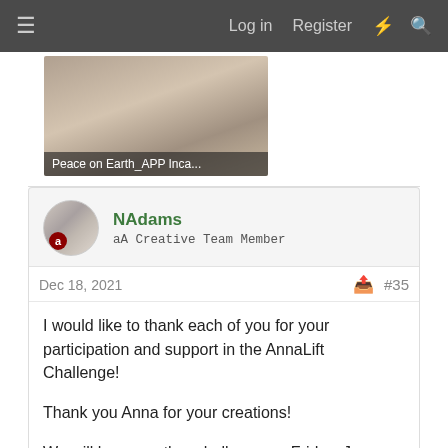≡   Log in   Register   ⚡   🔍
[Figure (photo): Thumbnail image with caption 'Peace on Earth_APP Inca...']
NAdams
aA Creative Team Member
Dec 18, 2021   #35
I would like to thank each of you for your participation and support in the AnnaLift Challenge!

Thank you Anna for your creations!

We will have another challenge on Friday, January 7, 2022. 🙂